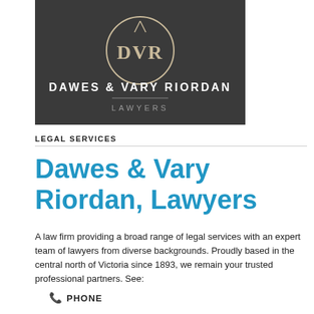[Figure (logo): Dawes & Vary Riordan Lawyers logo — dark background with DVR monogram in circular emblem and firm name below]
LEGAL SERVICES
Dawes & Vary Riordan, Lawyers
A law firm providing a broad range of legal services with an expert team of lawyers from diverse backgrounds. Proudly based in the central north of Victoria since 1893, we remain your trusted professional partners. See:
PHONE